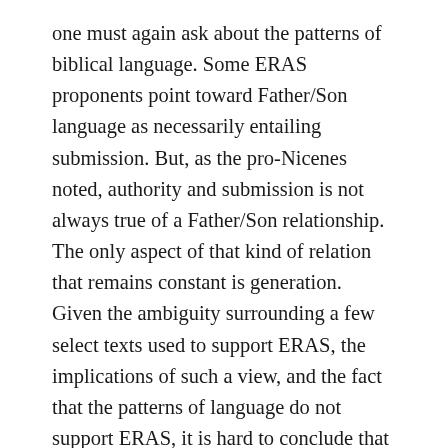one must again ask about the patterns of biblical language. Some ERAS proponents point toward Father/Son language as necessarily entailing submission. But, as the pro-Nicenes noted, authority and submission is not always true of a Father/Son relationship. The only aspect of that kind of relation that remains constant is generation. Given the ambiguity surrounding a few select texts used to support ERAS, the implications of such a view, and the fact that the patterns of language do not support ERAS, it is hard to conclude that this view has biblical support. I should add, as a final point, there are those who would argue for ERAS based not necessarily on any particular text but on the relationship between the ad extra and ad intra. This post is already much too lengthy so I will have to articulate my argument about that in another post. Suffice it to say that I think the statement "the mission...